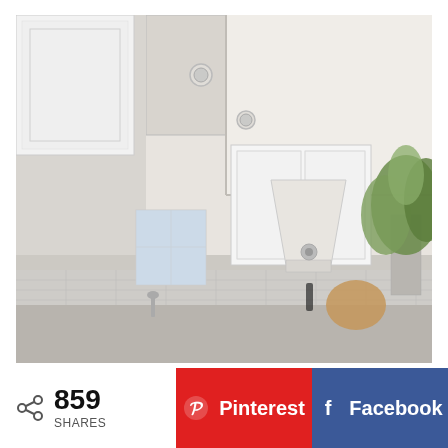[Figure (photo): Interior photo of a bright modern kitchen with white shaker-style cabinets, a tray ceiling with recessed lighting, a white range hood, marble tile backsplash, and a green plant in the upper right corner.]
859 SHARES
Pinterest
Facebook